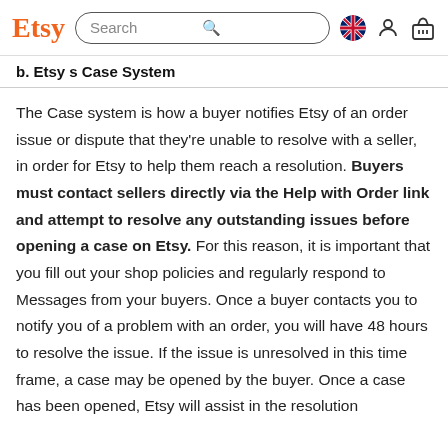Etsy | Search
b. Etsy s Case System
The Case system is how a buyer notifies Etsy of an order issue or dispute that they're unable to resolve with a seller, in order for Etsy to help them reach a resolution. Buyers must contact sellers directly via the Help with Order link and attempt to resolve any outstanding issues before opening a case on Etsy. For this reason, it is important that you fill out your shop policies and regularly respond to Messages from your buyers. Once a buyer contacts you to notify you of a problem with an order, you will have 48 hours to resolve the issue. If the issue is unresolved in this time frame, a case may be opened by the buyer. Once a case has been opened, Etsy will assist in the resolution